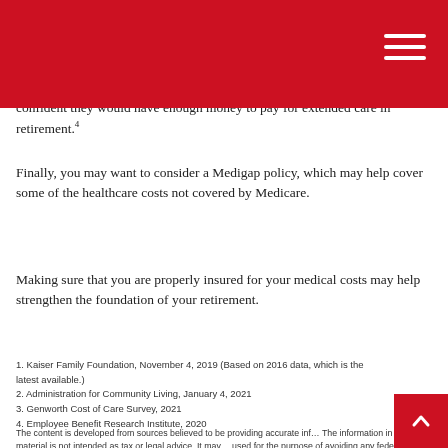confident they would have enough money to pay for extended care in retirement.⁴
Finally, you may want to consider a Medigap policy, which may help cover some of the healthcare costs not covered by Medicare.
Making sure that you are properly insured for your medical costs may help strengthen the foundation of your retirement.
1. Kaiser Family Foundation, November 4, 2019 (Based on 2016 data, which is the latest available.)
2. Administration for Community Living, January 4, 2021
3. Genworth Cost of Care Survey, 2021
4. Employee Benefit Research Institute, 2020
The content is developed from sources believed to be providing accurate information. The information in this material is not intended as tax or legal advice. It may not be used for the purpose of avoiding any federal tax penalties. Please consult legal or tax professionals for specific information regarding your individual situation. This material